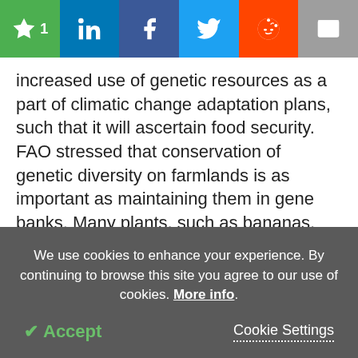[Figure (other): Social sharing toolbar with bookmark (1), LinkedIn, Facebook, Twitter, Reddit, and email icons on colored backgrounds]
increased use of genetic resources as a part of climatic change adaptation plans, such that it will ascertain food security. FAO stressed that conservation of genetic diversity on farmlands is as important as maintaining them in gene banks. Many plants, such as bananas, are extremely important for millions of individuals, whose genetic diversity can only be restored in fields and not in gene banks.
In situ conservation allows the plant to continue to
We use cookies to enhance your experience. By continuing to browse this site you agree to our use of cookies. More info.
✔ Accept
Cookie Settings